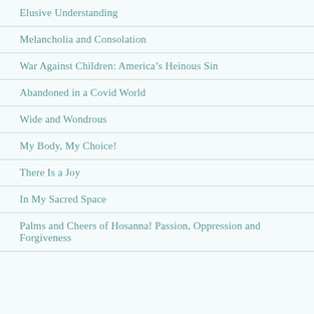Elusive Understanding
Melancholia and Consolation
War Against Children: America’s Heinous Sin
Abandoned in a Covid World
Wide and Wondrous
My Body, My Choice!
There Is a Joy
In My Sacred Space
Palms and Cheers of Hosanna! Passion, Oppression and Forgiveness